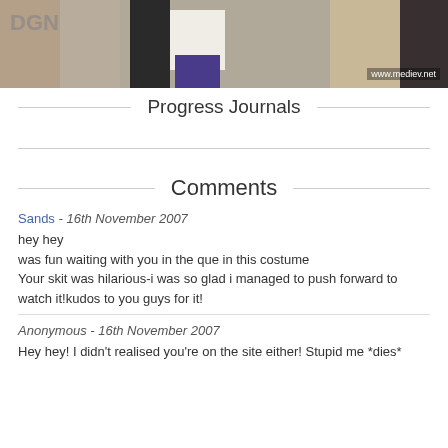[Figure (photo): Photo of people at a convention or event, showing figures in costume including dark jacket, white top, purple pants, and beige outfit. Watermark reads www.mediev.net]
Progress Journals
Comments
Sands - 16th November 2007
hey hey
was fun waiting with you in the que in this costume
Your skit was hilarious-i was so glad i managed to push forward to watch it!kudos to you guys for it!
Anonymous - 16th November 2007
Hey hey! I didn't realised you're on the site either! Stupid me *dies*